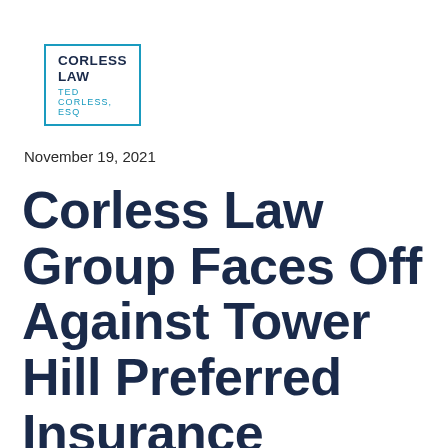[Figure (logo): Corless Law logo with teal border. Top line: CORLESS LAW in bold dark navy. Bottom line: TED CORLESS, ESQ in teal smaller text.]
November 19, 2021
Corless Law Group Faces Off Against Tower Hill Preferred Insurance Company in Punitive Damages